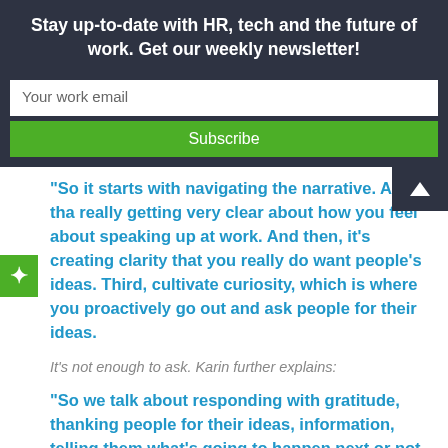Stay up-to-date with HR, tech and the future of work. Get our weekly newsletter!
Your work email
Subscribe
“So it starts with navigating the narrative. And tha really getting very clear about how you feel about speaking up at work. And then, it’s creating clarity that you really do want people’s ideas. Third, cultivate curiosity, which is where you proactively go out and ask people for their ideas.
It’s not enough to ask. Karin further explains:
“So we talk about responding with gratitude, thanking people for their ideas, information, telling them what’s going to happen next or not happen next and why.”